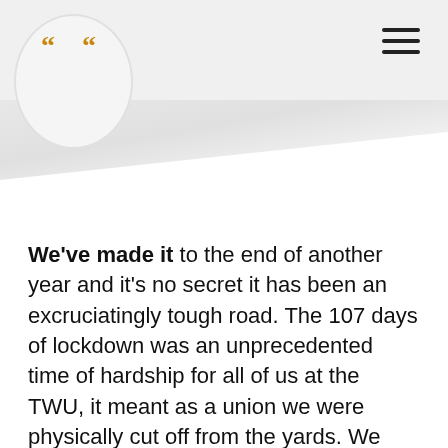[Figure (logo): Circular logo with orange quotation marks on light grey background]
We've made it to the end of another year and it's no secret it has been an excruciatingly tough road. The 107 days of lockdown was an unprecedented time of hardship for all of us at the TWU, it meant as a union we were physically cut off from the yards. We were forced to connect and meet with our members online, all the while the companies' wheels were in motion, churning record numbers of profits off the backs of their workers.